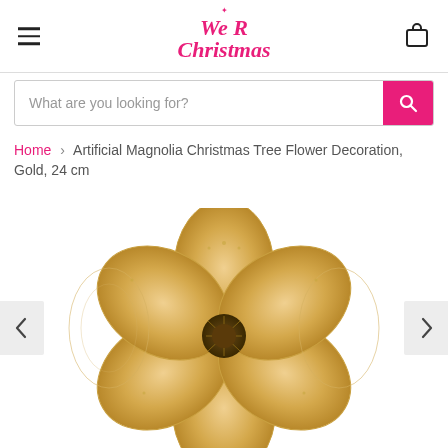[Figure (logo): We R Christmas logo in red/pink cursive font with a small snowflake accent above]
What are you looking for?
Home › Artificial Magnolia Christmas Tree Flower Decoration, Gold, 24 cm
[Figure (photo): Artificial magnolia Christmas tree flower decoration in gold color, 24 cm, showing large gold petals with glittery edges and a dark center stamen, laid flat on white background]